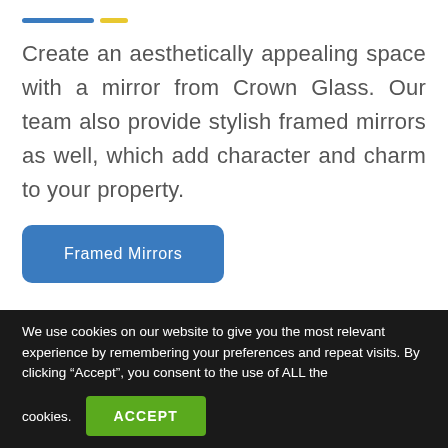[Figure (other): Two decorative horizontal lines: one blue and one yellow]
Create an aesthetically appealing space with a mirror from Crown Glass. Our team also provide stylish framed mirrors as well, which add character and charm to your property.
Framed Mirrors
We use cookies on our website to give you the most relevant experience by remembering your preferences and repeat visits. By clicking “Accept”, you consent to the use of ALL the cookies.
ACCEPT